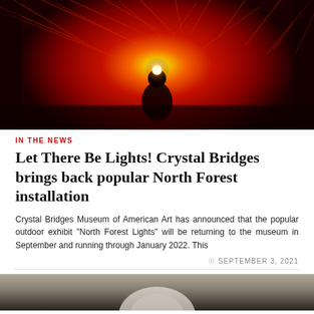[Figure (photo): Dark atmospheric photo of a silhouetted figure surrounded by glowing red and orange light installation with textured hanging elements, creating a cave-like effect.]
IN THE NEWS
Let There Be Lights! Crystal Bridges brings back popular North Forest installation
Crystal Bridges Museum of American Art has announced that the popular outdoor exhibit “North Forest Lights” will be returning to the museum in September and running through January 2022. This
SEPTEMBER 3, 2021
[Figure (photo): Black and white photo partially visible at bottom of page, showing a person's face or head.]